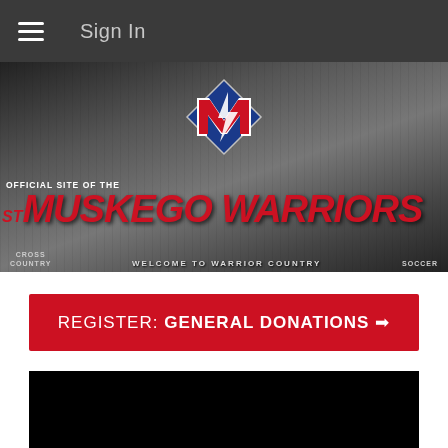≡  Sign In
[Figure (screenshot): Muskego Warriors official site banner with logo, text 'OFFICIAL SITE OF THE MUSKEGO WARRIORS', 'CROSS COUNTRY', 'SOCCER', 'WELCOME TO WARRIOR COUNTRY' on a dark athletic background]
REGISTER: GENERAL DONATIONS →
[Figure (photo): Black video or image content area]